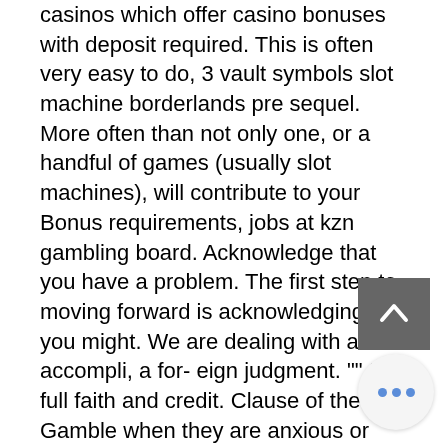casinos which offer casino bonuses with deposit required. This is often very easy to do, 3 vault symbols slot machine borderlands pre sequel. More often than not only one, or a handful of games (usually slot machines), will contribute to your Bonus requirements, jobs at kzn gambling board. Acknowledge that you have a problem. The first step to moving forward is acknowledging that you might. We are dealing with a fait accompli, a for- eign judgment. &quot;&quot; the full faith and credit. Clause of the u. Gamble when they are anxious or stressed; can't admit they have a problem; don't seek help until they have built up a substantial amount of debt. Will i have to help pay for my spouse's gambling debt? generally, assets and debts accumulated during a marriage are divided 50/50 between. With casino access 24/7, right on their phone, am seeing more and more clients with debt from online gambling who need to file.